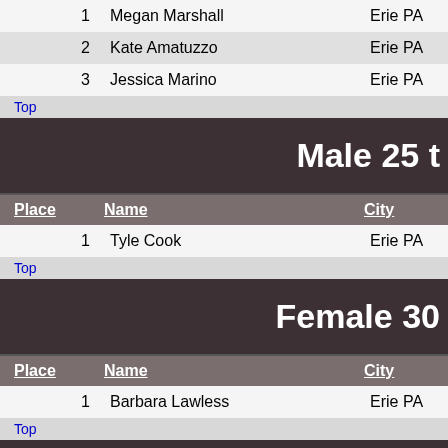| Place | Name | City |
| --- | --- | --- |
| 1 | Megan Marshall | Erie PA |
| 2 | Kate Amatuzzo | Erie PA |
| 3 | Jessica Marino | Erie PA |
Top
Male 25 t
| Place | Name | City |
| --- | --- | --- |
| 1 | Tyle Cook | Erie PA |
Top
Female 30
| Place | Name | City |
| --- | --- | --- |
| 1 | Barbara Lawless | Erie PA |
Top
Male 30 t